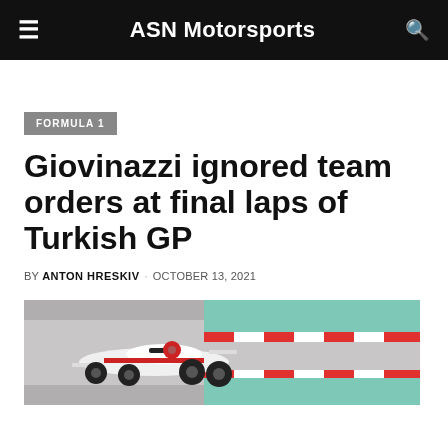ASN Motorsports
FORMULA 1
Giovinazzi ignored team orders at final laps of Turkish GP
BY ANTON HRESKIV · OCTOBER 13, 2021
[Figure (photo): Formula 1 race car (white and red Alfa Romeo) driving on a race track with teal and red-white striped curbing visible]